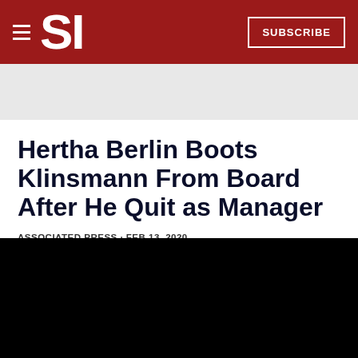SI — SUBSCRIBE
Hertha Berlin Boots Klinsmann From Board After He Quit as Manager
ASSOCIATED PRESS · FEB 13, 2020
[Figure (photo): Black image area representing article photo]